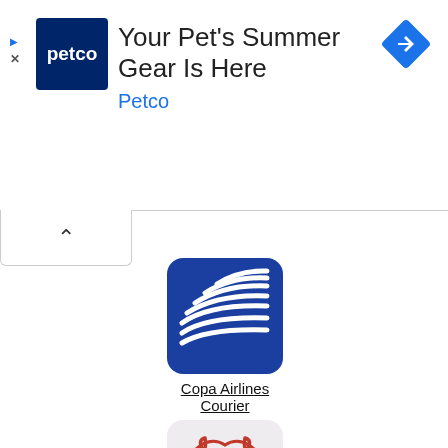[Figure (logo): Petco advertisement banner: Petco logo (white text on dark blue background), headline 'Your Pet's Summer Gear Is Here', brand name 'Petco' in blue, blue diamond arrow icon on right, play and close icons on left]
[Figure (logo): Copa Airlines Courier logo - blue square with white wave/swoosh lines]
Copa Airlines Courier
[Figure (logo): Mara Xpress logo - light gray square with red lion head illustration]
Mara Xpress
[Figure (logo): Partial logo visible at bottom - orange and purple background with white 'mn' text]